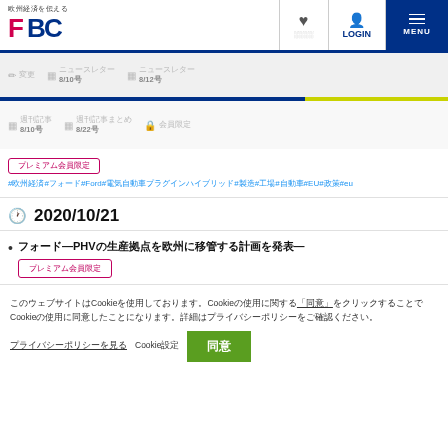欧州経済を伝える FBC - ナビゲーションヘッダー
ニュースレター 8/10号 | ニュースレター 8/12号
週刊記事 8/10号 | 週刊記事まとめ 8/22号 | 会員限定
#欧州経済#フォード#Ford#電気自動車プラグインハイブリッド#製造#工場#自動車#EU#政策#eu
2020/10/21
フォード—PHVの生産拠点を欧州に移管する計画を発表—
プレミアム会員限定
このウェブサイトはCookieを使用しております。"同意"をクリックすることでCookieの使用に同意したことになります。
プライバシーポリシーを見る　Cookie設定　同意